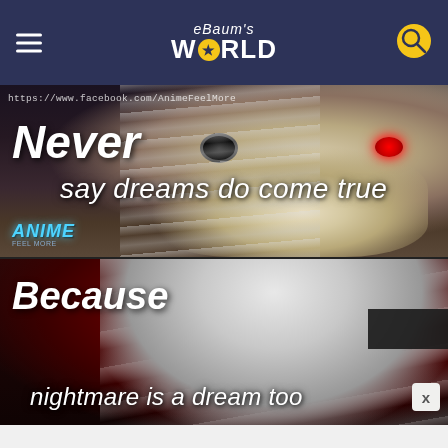eBaum's World
[Figure (photo): Anime meme image in two panels. Top panel: close-up of white-haired anime character (Ken Kaneki from Tokyo Ghoul) with one dark eye and one red glowing eye, text reads 'Never say dreams do come true' with Facebook URL 'https://www.facebook.com/AnimeFeelMore' and Anime Feel More logo. Bottom panel: same character looking down with red background, text reads 'Because nightmare is a dream too' with X close button.]
Never say dreams do come true Because nightmare is a dream too